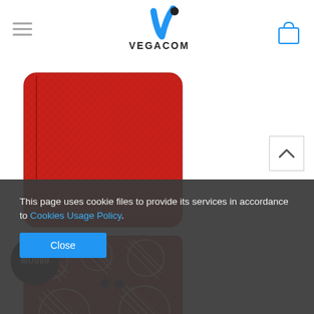[Figure (logo): Vegacom Professional Solutions logo with blue checkmark and dot icon, text VEGACOM PROFESSIONAL SOLUTIONS]
[Figure (photo): Red textured leather phone case, closed, viewed from front/back showing smooth red saffiano-style exterior with rounded corners]
[Figure (photo): Red phone case open showing polka dot pattern with white outlined circles on red background, camera cutouts visible, with MU089 product badge]
This page uses cookie files to provide its services in accordance to Cookies Usage Policy.
Close